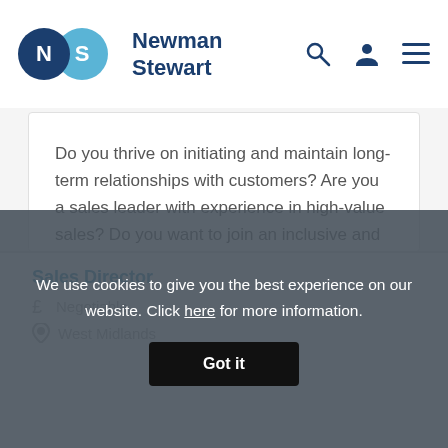Newman Stewart
Do you thrive on initiating and maintain long-term relationships with customers? Are you a sales leader with experience in high-value sales? Do you want to join an inclusive and ambitious
FULL DETAILS
Sales Director
We use cookies to give you the best experience on our website. Click here for more information.
£ Negotiable
West Midlands
Got it